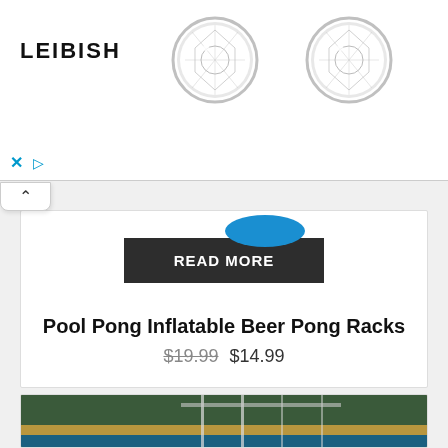[Figure (screenshot): Advertisement banner for LEIBISH jewelry showing two diamond stud earrings on white background, with close X and play controls at bottom left]
[Figure (screenshot): Collapse/accordion button with up caret symbol]
[Figure (screenshot): Blue oval shape partially visible at top of product card]
READ MORE
Pool Pong Inflatable Beer Pong Racks
$19.99 $14.99
[Figure (photo): Outdoor scene showing what appears to be a bridge structure over water or sandy area with trees in background]